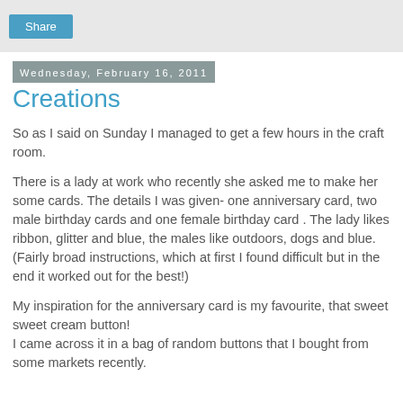[Figure (screenshot): Share button on grey background toolbar]
Wednesday, February 16, 2011
Creations
So as I said on Sunday I managed to get a few hours in the craft room.
There is a lady at work who recently she asked me to make her some cards. The details I was given- one anniversary card, two male birthday cards and one female birthday card . The lady likes ribbon, glitter and blue, the males like outdoors, dogs and blue. (Fairly broad instructions, which at first I found difficult but in the end it worked out for the best!)
My inspiration for the anniversary card is my favourite, that sweet sweet cream button!
I came across it in a bag of random buttons that I bought from some markets recently.